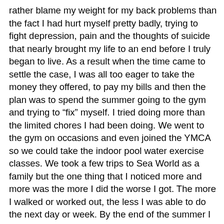rather blame my weight for my back problems than the fact I had hurt myself pretty badly, trying to fight depression, pain and the thoughts of suicide that nearly brought my life to an end before I truly began to live. As a result when the time came to settle the case, I was all too eager to take the money they offered, to pay my bills and then the plan was to spend the summer going to the gym and trying to “fix” myself. I tried doing more than the limited chores I had been doing. We went to the gym on occasions and even joined the YMCA so we could take the indoor pool water exercise classes. We took a few trips to Sea World as a family but the one thing that I noticed more and more was the more I did the worse I got. The more I walked or worked out, the less I was able to do the next day or week. By the end of the summer I was in such pain that the thought of even going to the gym left me depressed. Needless to say the settlement money was now gone and even though I had applied for several jobs, it was painfully clear that I would not be able to spend the time required to sit or stand in the workplace because the couch and bed had become my